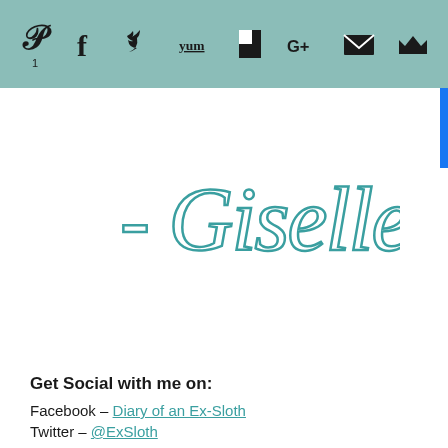Social sharing toolbar with Pinterest (1), Facebook, Twitter, Yummly, Flipboard, Google+, Email, Crown icons
[Figure (illustration): Cursive signature reading '- Giselle' in teal/turquoise color]
Get Social with me on:
Facebook – Diary of an Ex-Sloth
Twitter – @ExSloth